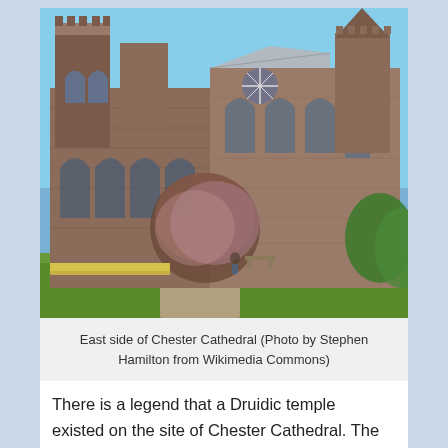[Figure (photo): East side of Chester Cathedral — a large Gothic stone cathedral with towers, arched windows, and trees with spring foliage in the foreground, under a clear blue sky.]
East side of Chester Cathedral (Photo by Stephen Hamilton from Wikimedia Commons)
There is a legend that a Druidic temple existed on the site of Chester Cathedral. The city of Chester was founded in 75 AD and was an essential Roman stronghold. There may have been a temple on the site during Roman times and when Christianity